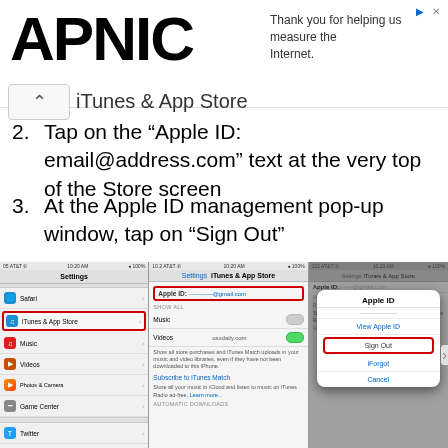APNIC — Thank you for helping us measure the Internet.
iTunes & App Store
2. Tap on the “Apple ID: email@address.com” text at the very top of the Store screen
3. At the Apple ID management pop-up window, tap on “Sign Out”
[Figure (screenshot): Three iPhone screenshots showing: (1) iOS Settings list with iTunes & App Store highlighted in red; (2) iTunes & App Store settings with Apple ID field highlighted in red; (3) Apple ID popup dialog with Sign Out button highlighted in red, also showing View Apple ID, iForgot, and Cancel options.]